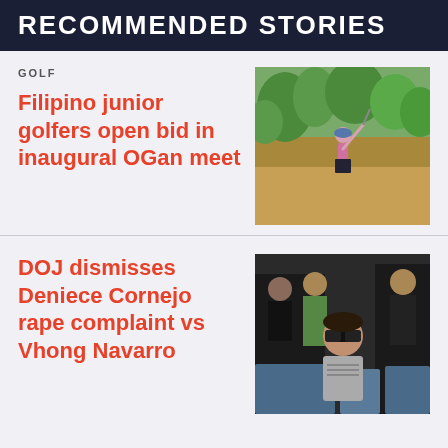RECOMMENDED STORIES
GOLF
Filipino junior golfers open bid in inaugural OGan meet
[Figure (photo): A female golfer mid-swing on a golf course with green trees in the background]
DOJ dismisses Deniece Cornejo rape complaint vs Vhong Navarro
[Figure (photo): A woman wearing sunglasses seated indoors, other people visible in the background]